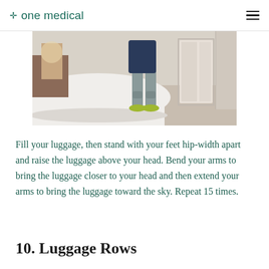✛ one medical
[Figure (photo): A person standing in a hotel room near a bed, wearing a dark navy top and gray cropped pants with green sneakers, viewed from the waist down.]
Fill your luggage, then stand with your feet hip-width apart and raise the luggage above your head. Bend your arms to bring the luggage closer to your head and then extend your arms to bring the luggage toward the sky. Repeat 15 times.
10. Luggage Rows